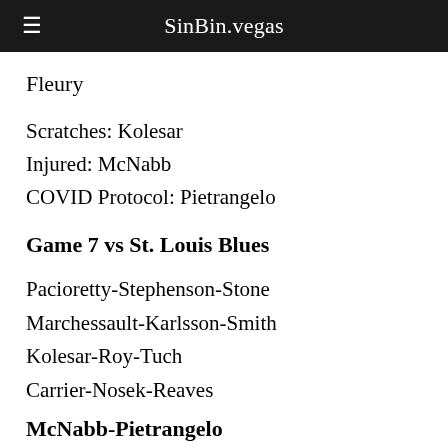SinBin.vegas
Fleury
Scratches: Kolesar
Injured: McNabb
COVID Protocol: Pietrangelo
Game 7 vs St. Louis Blues
Pacioretty-Stephenson-Stone
Marchessault-Karlsson-Smith
Kolesar-Roy-Tuch
Carrier-Nosek-Reaves
McNabb-Pietrangelo